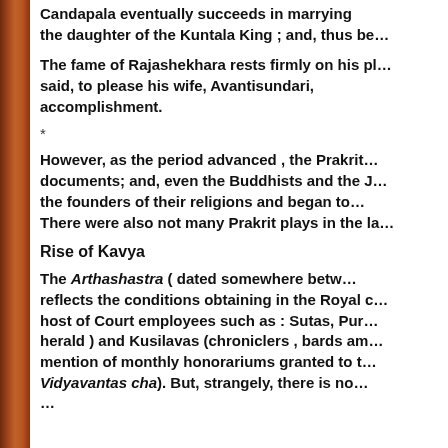Candapala eventually succeeds in marrying the daughter of the Kuntala King ; and, thus be…
The fame of Rajashekhara rests firmly on his pl… said, to please his wife, Avantisundari, accomplishment.
*
However, as the period advanced , the Prakrit… documents; and, even the Buddhists and the J… the founders of their religions and began to… There were also not many Prakrit plays in the la…
Rise of Kavya
The Arthashastra ( dated somewhere betw… reflects the conditions obtaining in the Royal c… host of Court employees such as : Sutas, Pur… herald ) and Kusilavas (chroniclers , bards am… mention of monthly honorariums granted to t… Vidyavantas cha). But, strangely, there is no…